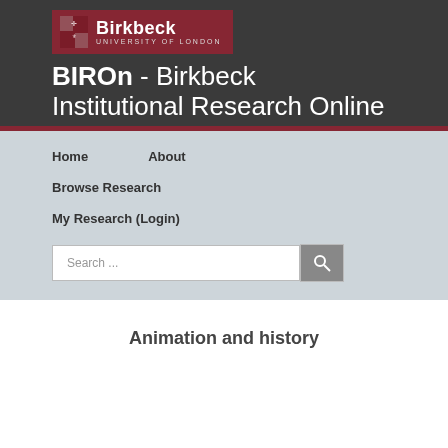[Figure (logo): Birkbeck University of London logo with shield emblem on dark red background]
BIROn - Birkbeck Institutional Research Online
Home
About
Browse Research
My Research (Login)
Search ...
Animation and history